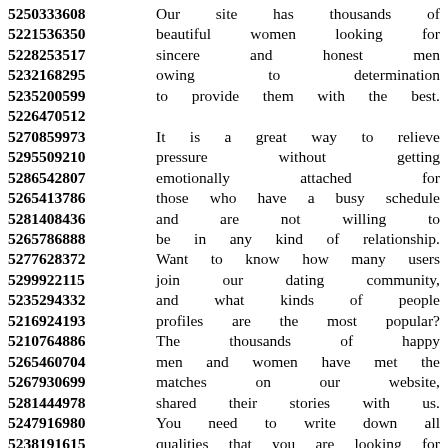5250333608 Our site has thousands of
5221536350 beautiful women looking for
5228253517 sincere and honest men
5232168295 owing to determination
5235200599 to provide them with the best.
5226470512
5270859973 It is a great way to relieve
5295509210 pressure without getting
5286542807 emotionally attached for
5265413786 those who have a busy schedule
5281408436 and are not willing to
5265786888 be in any kind of relationship.
5277628372 Want to know how many users
5299922115 join our dating community,
5235294332 and what kinds of people
5216924193 profiles are the most popular?
5210764886 The thousands of happy
5265460704 men and women have met the
5267930699 matches on our website,
5281444978 shared their stories with us.
5247916980 You need to write down all
5238191615 qualities that you are looking for
5295788900 to have a great chance of
5237407790 connecting with beautiful
5234554280 woman seeking man with